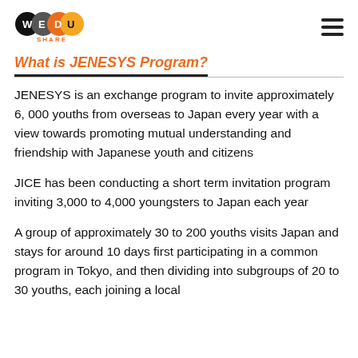WEDU SHARE logo and hamburger menu
What is JENESYS Program?
JENESYS is an exchange program to invite approximately 6, 000 youths from overseas to Japan every year with a view towards promoting mutual understanding and friendship with Japanese youth and citizens
JICE has been conducting a short term invitation program inviting 3,000 to 4,000 youngsters to Japan each year
A group of approximately 30 to 200 youths visits Japan and stays for around 10 days first participating in a common program in Tokyo, and then dividing into subgroups of 20 to 30 youths, each joining a local